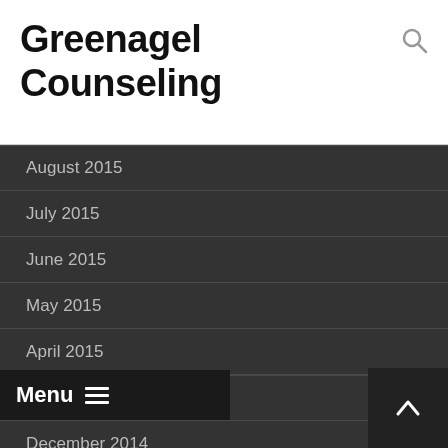Greenagel Counseling
August 2015
July 2015
June 2015
May 2015
April 2015
March 2015
January 2015
December 2014
November 2014
October 2014